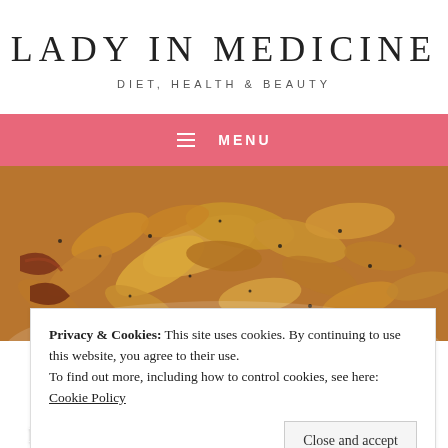LADY IN MEDICINE
DIET, HEALTH & BEAUTY
≡  MENU
[Figure (photo): Close-up photo of penne pasta with bacon, seasoned with black pepper, on a white plate]
Privacy & Cookies: This site uses cookies. By continuing to use this website, you agree to their use.
To find out more, including how to control cookies, see here: Cookie Policy
Close and accept
PENNE PASTA WITH BACON